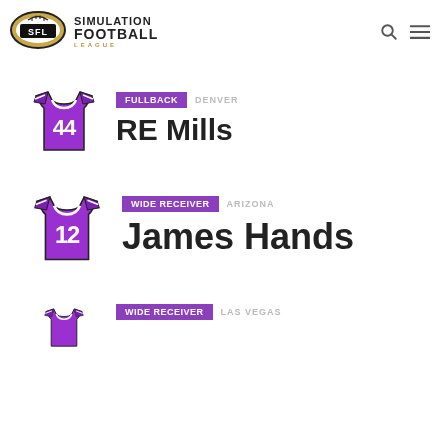[Figure (logo): Simulation Football League logo with football icon and SFL text]
SIMULATION FOOTBALL LEAGUE
[Figure (illustration): Purple football jersey with number 44]
FULLBACK  DENVER
RE Mills
[Figure (illustration): Purple football jersey with number 12]
WIDE RECEIVER  ARIZONA
James Hands
[Figure (illustration): Purple football jersey partially visible]
WIDE RECEIVER  LAS VEGAS